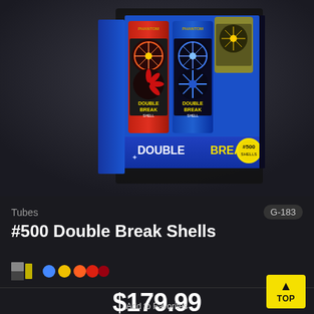[Figure (photo): Product photo of Double Break Shells #500 fireworks set in a box, showing four large cylindrical shell tubes with colorful labels featuring firework burst imagery. The box front reads 'DOUBLE BREAK SHELLS' and '#500'. Brand: Phantom.]
Tubes
G-183
#500 Double Break Shells
[Figure (illustration): Color swatch icon and multi-color dot icons (blue, yellow, orange, red, dark red) indicating available colors]
$179.99
Add to Favorites